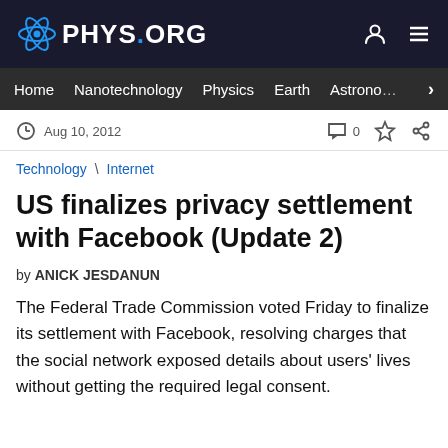PHYS.ORG
Home | Nanotechnology | Physics | Earth | Astronomy
Aug 10, 2012
Technology \ Internet
US finalizes privacy settlement with Facebook (Update 2)
by ANICK JESDANUN
The Federal Trade Commission voted Friday to finalize its settlement with Facebook, resolving charges that the social network exposed details about users' lives without getting the required legal consent.